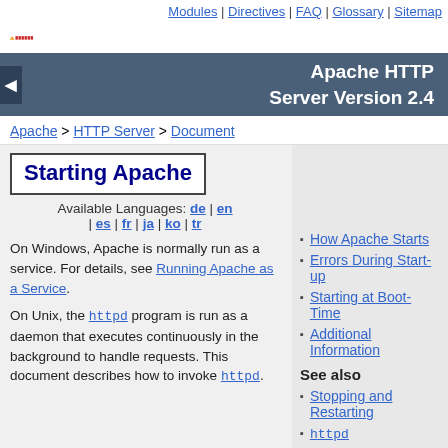Modules | Directives | FAQ | Glossary | Sitemap
Apache HTTP Server Version 2.4
Apache > HTTP Server > Document
Starting Apache
Available Languages: de | en | es | fr | ja | ko | tr
How Apache Starts
Errors During Start-up
Starting at Boot-Time
Additional Information
On Windows, Apache is normally run as a service. For details, see Running Apache as a Service.
See also
Stopping and Restarting
httpd
apache2ctl
Comments
On Unix, the httpd program is run as a daemon that executes continuously in the background to handle requests. This document describes how to invoke httpd.